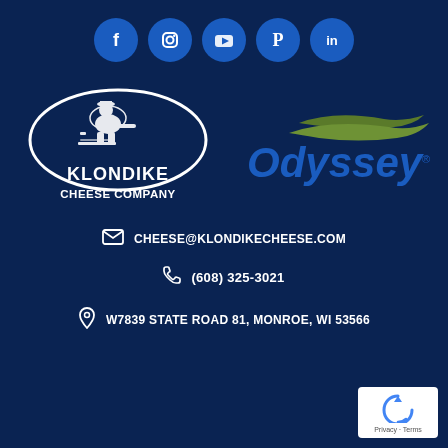[Figure (logo): Row of 5 social media icons (Facebook, Instagram, YouTube, Pinterest, LinkedIn) as white icons on blue circles]
[Figure (logo): Klondike Cheese Company logo - white oval with prospector figure and text KLONDIKE CHEESE COMPANY]
[Figure (logo): Odyssey brand logo - blue text Odyssey with green swoosh marks above]
CHEESE@KLONDIKECHEESE.COM
(608) 325-3021
W7839 STATE ROAD 81, MONROE, WI 53566
[Figure (logo): Google reCAPTCHA badge - reCAPTCHA logo with Privacy - Terms text]